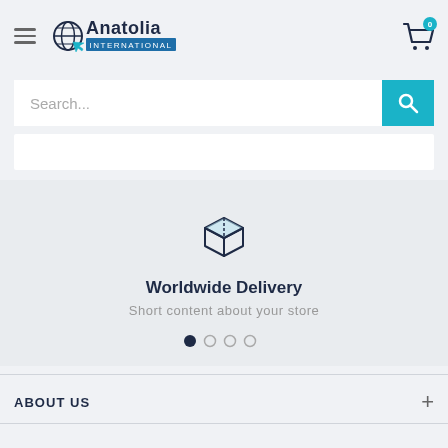[Figure (logo): Anatolia International logo with globe icon and text]
[Figure (screenshot): Search bar with placeholder text 'Search...' and teal search button with magnifying glass icon]
[Figure (infographic): White category navigation bar]
[Figure (illustration): 3D box/package icon in dark navy outline with light blue top face]
Worldwide Delivery
Short content about your store
[Figure (other): Carousel navigation dots, first dot active (dark), three dots grey]
ABOUT US
+